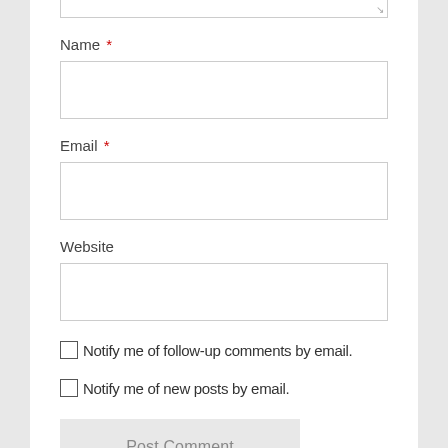Name *
Email *
Website
Notify me of follow-up comments by email.
Notify me of new posts by email.
Post Comment
[Figure (logo): CommentLuv logo with flame icons and Facebook icon]